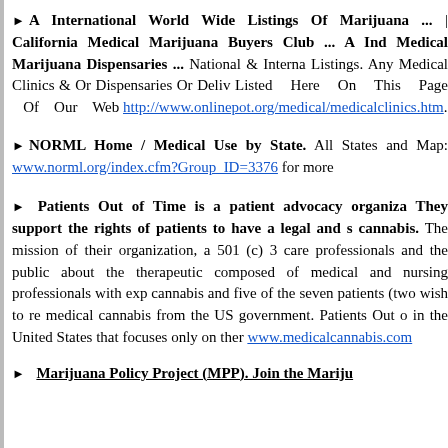A International World Wide Listings Of Marijuana | California Medical Marijuana Buyers Club ... A Ind Medical Marijuana Dispensaries ... National & Interna Listings. Any Medical Clinics & Or Dispensaries Or Deliv Listed Here On This Page Of Our Web http://www.onlinepot.org/medical/medicalclinics.htm.
NORML Home / Medical Use by State. All States and Map: www.norml.org/index.cfm?Group_ID=3376 for more
Patients Out of Time is a patient advocacy organiza They support the rights of patients to have a legal and s cannabis. The mission of their organization, a 501 (c) 3 care professionals and the public about the therapeutic composed of medical and nursing professionals with exp cannabis and five of the seven patients (two wish to re medical cannabis from the US government. Patients Out o in the United States that focuses only on ther www.medicalcannabis.com
Marijuana Policy Project (MPP). Join the Mariju